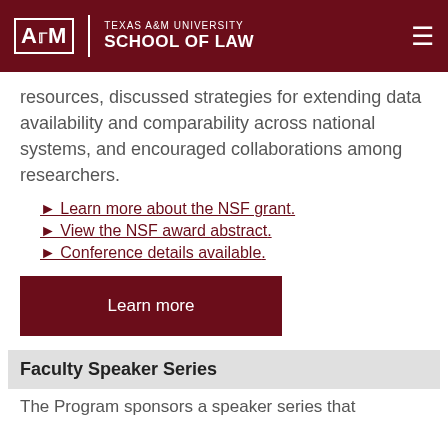TEXAS A&M UNIVERSITY SCHOOL OF LAW
resources, discussed strategies for extending data availability and comparability across national systems, and encouraged collaborations among researchers.
► Learn more about the NSF grant.
► View the NSF award abstract.
► Conference details available.
Learn more
Faculty Speaker Series
The Program sponsors a speaker series that